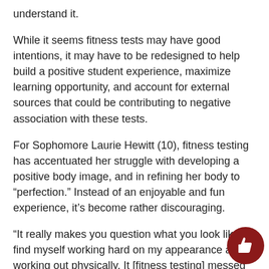understand it.
While it seems fitness tests may have good intentions, it may have to be redesigned to help build a positive student experience, maximize learning opportunity, and account for external sources that could be contributing to negative association with these tests.
For Sophomore Laurie Hewitt (10), fitness testing has accentuated her struggle with developing a positive body image, and in refining her body to “perfection.” Instead of an enjoyable and fun experience, it’s become rather discouraging.
“It really makes you question what you look like. I find myself working hard on my appearance and working out physically. It [fitness testing] messed with my mental health. It feels like it’s your whole being that you’re being tested on,” Hewitt said.
McCaulou had expressed his concern for students who were struggling mentally, but also pointed out that students m overemphasizing the degree to which they are “tested.”